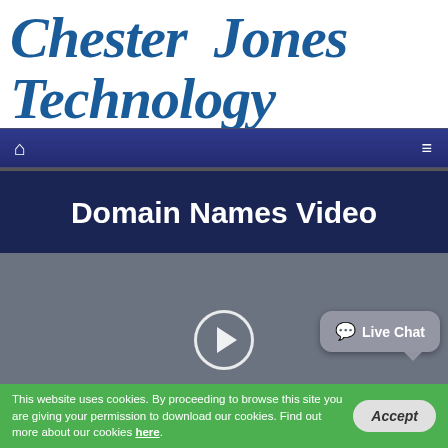Chester Jones Technology
[Figure (screenshot): Navigation bar with home icon on left and hamburger menu icon on right, dark navy blue background]
Domain Names Video
[Figure (screenshot): Video player area with grey background showing a circular play button, and a Live Chat speech bubble in the bottom right corner]
This website uses cookies. By proceeding to browse this site you are giving your permission to download our cookies. Find out more about our cookies here.